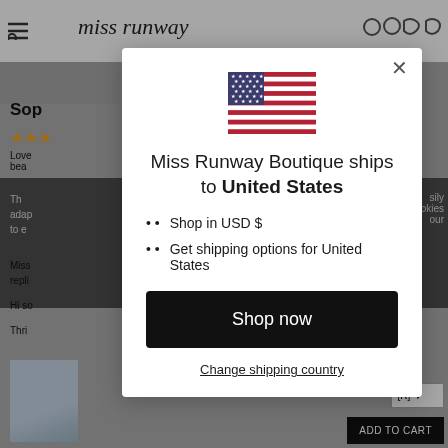[Figure (screenshot): Background of e-commerce website (miss runway boutique) showing product page with header, product title, star rating, review text, and dark overlay]
[Figure (illustration): US flag emoji/icon centered at top of modal dialog]
Miss Runway Boutique ships to United States
Shop in USD $
Get shipping options for United States
Shop now
Change shipping country